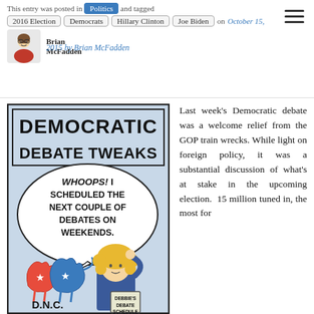This entry was posted in [Politics] and tagged 2016 Election, Democrats, Hillary Clinton, Joe Biden on October 15, 2015 by Brian McFadden
[Figure (illustration): Comic strip titled 'Democratic Debate Tweaks' showing a curly-haired woman at D.N.C. Headquarters holding a 'Debbie's Debate Schedule' booklet with a speech bubble saying 'WHOOPS! I SCHEDULED THE NEXT COUPLE OF DEBATES ON WEEKENDS.' A Democratic Party donkey logo is visible.]
Last week's Democratic debate was a welcome relief from the GOP train wrecks. While light on foreign policy, it was a substantial discussion of what's at stake in the upcoming election. 15 million tuned in, the most for